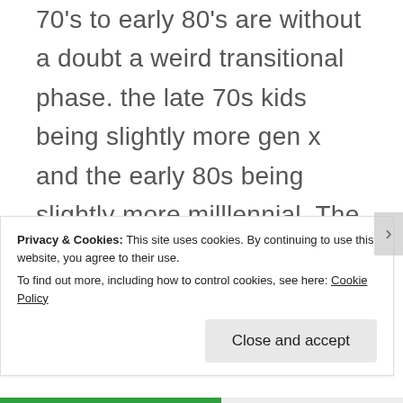70's to early 80's are without a doubt a weird transitional phase. the late 70s kids being slightly more gen x and the early 80s being slightly more milllennial. The idea that there's some kind of hard border makes absolutely
Privacy & Cookies: This site uses cookies. By continuing to use this website, you agree to their use.
To find out more, including how to control cookies, see here: Cookie Policy
Close and accept